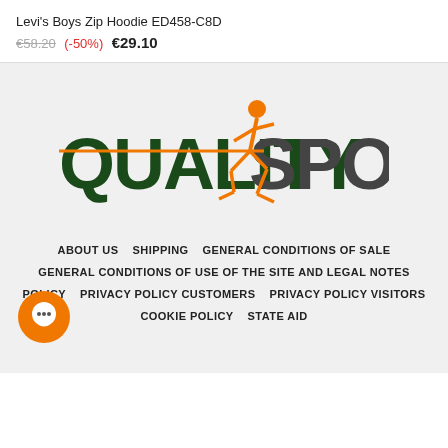Levi's Boys Zip Hoodie ED458-C8D
€58.20 (-50%) €29.10
[Figure (logo): QualitySport logo with orange running figure and dark green and grey text reading QUALITY SPORT]
ABOUT US   SHIPPING   GENERAL CONDITIONS OF SALE   GENERAL CONDITIONS OF USE OF THE SITE AND LEGAL NOTES   POLICY   PRIVACY POLICY CUSTOMERS   PRIVACY POLICY VISITORS   COOKIE POLICY   STATE AID